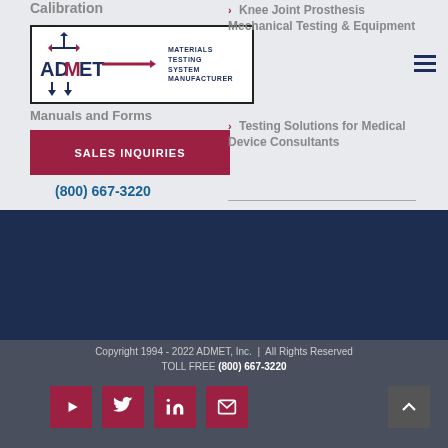Calibration
[Figure (logo): ADMET Materials Testing System Manufacturer logo]
Manuals and Forms
SALES INQUIRIES
(800) 667-3220
Knee Joint Prosthesis Mechanical Testing & Equipment
Testing Solutions for Medical Device Consultants
Copyright 1994 - 2022 ADMET, Inc. | All Rights Reserved
TOLL FREE (800) 667-3220